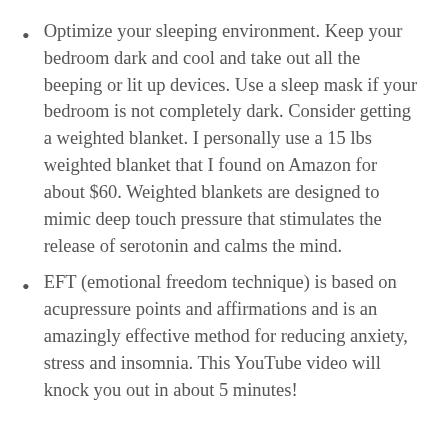Optimize your sleeping environment. Keep your bedroom dark and cool and take out all the beeping or lit up devices. Use a sleep mask if your bedroom is not completely dark. Consider getting a weighted blanket. I personally use a 15 lbs weighted blanket that I found on Amazon for about $60. Weighted blankets are designed to mimic deep touch pressure that stimulates the release of serotonin and calms the mind.
EFT (emotional freedom technique) is based on acupressure points and affirmations and is an amazingly effective method for reducing anxiety, stress and insomnia. This YouTube video will knock you out in about 5 minutes!